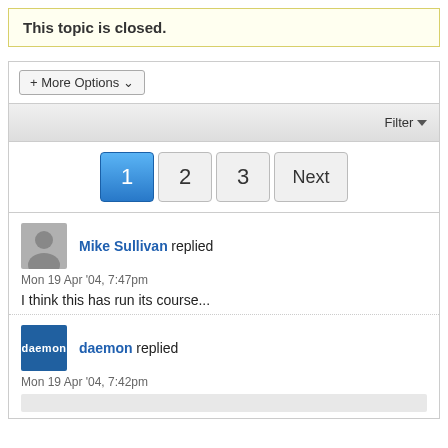This topic is closed.
+ More Options ▾
Filter ▾
1   2   3   Next
Mike Sullivan replied
Mon 19 Apr '04, 7:47pm
I think this has run its course...
daemon replied
Mon 19 Apr '04, 7:42pm